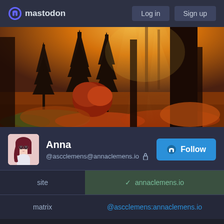mastodon — Log in | Sign up
[Figure (photo): Autumn forest scene with tall dark trees, orange and red foliage on the ground, warm golden light filtering through the trees from the background]
Anna @ascclemens@annaclemens.io 🔒
|  |  |
| --- | --- |
| site | ✓ annaclemens.io |
| matrix | @ascclemens:annaclemens.io |